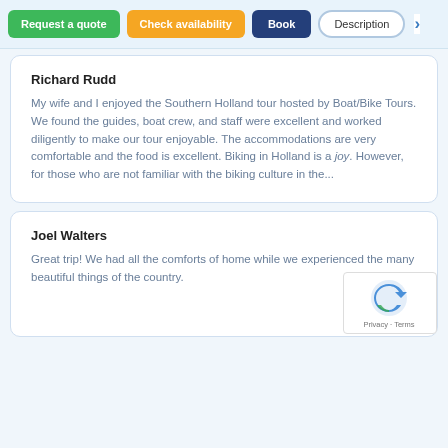Request a quote | Check availability | Book | Description | >
Richard Rudd
My wife and I enjoyed the Southern Holland tour hosted by Boat/Bike Tours. We found the guides, boat crew, and staff were excellent and worked diligently to make our tour enjoyable. The accommodations are very comfortable and the food is excellent. Biking in Holland is a joy. However, for those who are not familiar with the biking culture in the...
Joel Walters
Great trip! We had all the comforts of home while we experienced the many beautiful things of the country.